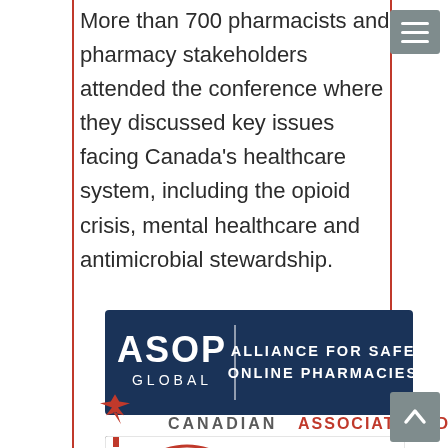More than 700 pharmacists and pharmacy stakeholders attended the conference where they discussed key issues facing Canada's healthcare system, including the opioid crisis, mental healthcare and antimicrobial stewardship.
[Figure (logo): ASOP Global — Alliance for Safe Online Pharmacies logo. Dark navy blue rectangular banner with white text.]
[Figure (logo): NABP — National Association of Boards of Pharmacy logo. Red circular emblem on left, red NABP text with organization name in smaller black text.]
[Figure (logo): Canadian Association des (partially visible) logo with red maple leaf emblem.]